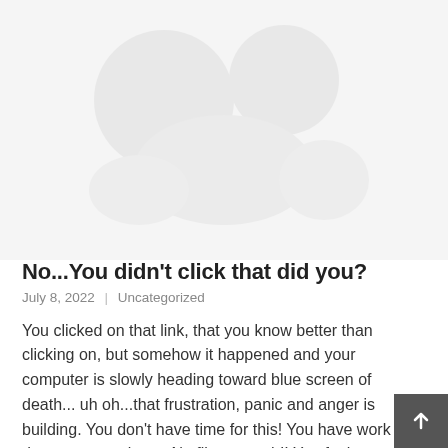[Figure (illustration): Faded watermark-style background image with light gray tones, showing an indistinct graphic in the upper portion of the page.]
No...You didn't click that did you?
July 8, 2022  |  Uncategorized
You clicked on that link, that you know better than clicking on, but somehow it happened and your computer is slowly heading toward blue screen of death... uh oh...that frustration, panic and anger is building. You don't have time for this! You have work to do, games to play or Netflix to watch!! You feel...